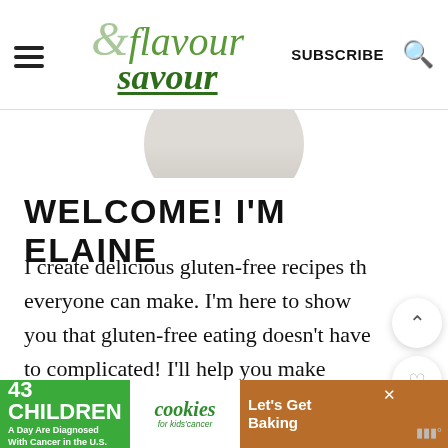& flavour savour — SUBSCRIBE
[Figure (photo): Circular cropped photo of a person, partially visible at top of page]
WELCOME! I'M ELAINE
I create delicious gluten-free recipes that everyone can make. I'm here to show you that gluten-free eating doesn't have to be complicated! I'll help you make healthy meals that you'll want to share with family and friends. About Me!
43 CHILDREN A Day Are Diagnosed With Cancer in the U.S. | cookies for kids' cancer | Let's Get Baking